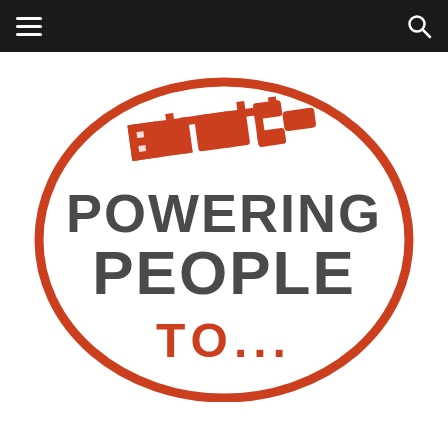Navigation bar with hamburger menu and search icon
[Figure (logo): EMT logo — an orange/red electrical plug icon above text inside an oval border. Text reads 'EMT' at top in orange block letters styled as a plug, 'POWERING PEOPLE' in large dark gray bold letters, and 'TO...' in orange bold letters at the bottom. The whole composition is enclosed in a thick orange/red oval outline.]